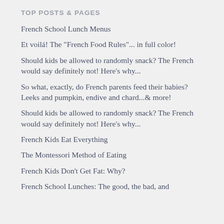TOP POSTS & PAGES
French School Lunch Menus
Et voilá! The "French Food Rules"... in full color!
Should kids be allowed to randomly snack? The French would say definitely not! Here's why...
So what, exactly, do French parents feed their babies? Leeks and pumpkin, endive and chard...& more!
Should kids be allowed to randomly snack? The French would say definitely not! Here's why...
French Kids Eat Everything
The Montessori Method of Eating
French Kids Don't Get Fat: Why?
French School Lunches: The good, the bad, and